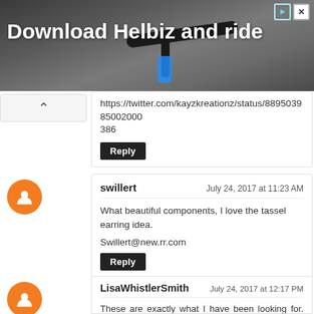[Figure (photo): Advertisement banner for 'Helbiz' app showing a bicycle handlebar close-up with white bold text 'Download Helbiz and ride' and ad icons in top-right corner]
https://twitter.com/kayzkreationz/status/889503985002000386
Reply
swillert
July 24, 2017 at 11:23 AM
What beautiful components, I love the tassel earring idea.
Swillert@new.rr.com
Reply
LisaWhistlerSmith
July 24, 2017 at 12:17 PM
These are exactly what I have been looking for. Particularly bracelet findings for some projects I am working on right now. Fantastic solutions for those of us still learning! lisawhistlersmith@gmail.com Thank you!